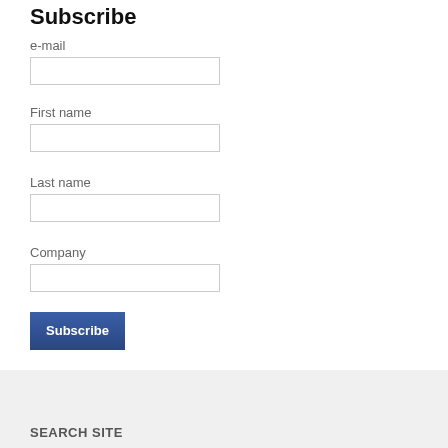Subscribe
e-mail
First name
Last name
Company
Subscribe
SEARCH SITE